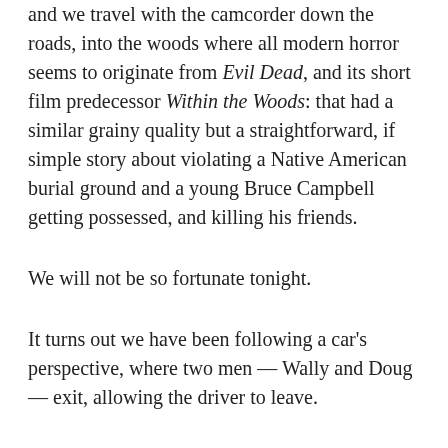and we travel with the camcorder down the roads, into the woods where all modern horror seems to originate from Evil Dead, and its short film predecessor Within the Woods: that had a similar grainy quality but a straightforward, if simple story about violating a Native American burial ground and a young Bruce Campbell getting possessed, and killing his friends.
We will not be so fortunate tonight.
It turns out we have been following a car's perspective, where two men — Wally and Doug — exit, allowing the driver to leave.
And now, a news segment with anchorwoman — and totally not pornstar — Amber Lynn, and also